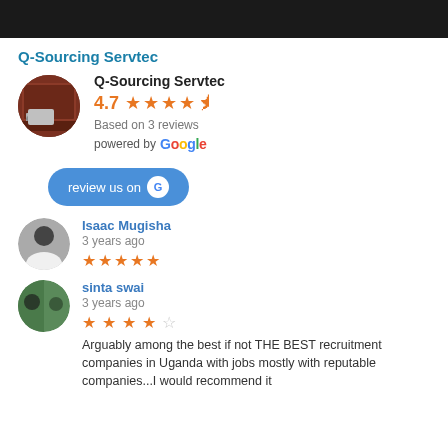[Figure (screenshot): Dark header bar at top of page]
Q-Sourcing Servtec
Q-Sourcing Servtec
4.7 ★★★★½
Based on 3 reviews
powered by Google
[Figure (other): review us on Google button]
Isaac Mugisha
3 years ago
★★★★★
sinta swai
3 years ago
★★★★☆ Arguably among the best if not THE BEST recruitment companies in Uganda with jobs mostly with reputable companies...I would recommend it